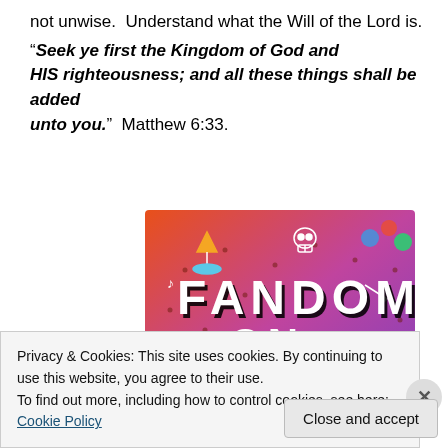not unwise.  Understand what the Will of the Lord is. “Seek ye first the Kingdom of God and HIS righteousness; and all these things shall be added unto you.”  Matthew 6:33.
[Figure (illustration): Colorful Tumblr 'Fandom on Tumblr' promotional image with gradient orange-to-purple background, white doodle icons (skull, sailboat, musical notes, arrows, hearts), and large bold text reading 'FANDOM ON tumblr']
Privacy & Cookies: This site uses cookies. By continuing to use this website, you agree to their use.
To find out more, including how to control cookies, see here: Cookie Policy